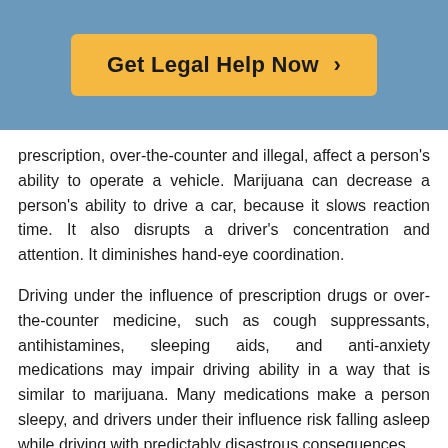[Figure (other): Call-to-action button with orange/yellow background reading 'Get Legal Help Now >' on a blue-grey header band]
prescription, over-the-counter and illegal, affect a person's ability to operate a vehicle. Marijuana can decrease a person's ability to drive a car, because it slows reaction time. It also disrupts a driver's concentration and attention. It diminishes hand-eye coordination.
Driving under the influence of prescription drugs or over-the-counter medicine, such as cough suppressants, antihistamines, sleeping aids, and anti-anxiety medications may impair driving ability in a way that is similar to marijuana. Many medications make a person sleepy, and drivers under their influence risk falling asleep while driving with predictably disastrous consequences.